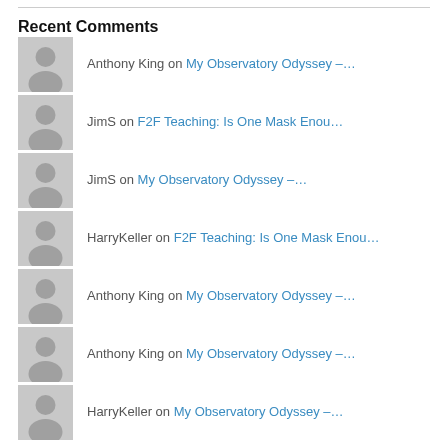Recent Comments
Anthony King on My Observatory Odyssey –…
JimS on F2F Teaching: Is One Mask Enou…
JimS on My Observatory Odyssey –…
HarryKeller on F2F Teaching: Is One Mask Enou…
Anthony King on My Observatory Odyssey –…
Anthony King on My Observatory Odyssey –…
HarryKeller on My Observatory Odyssey –…